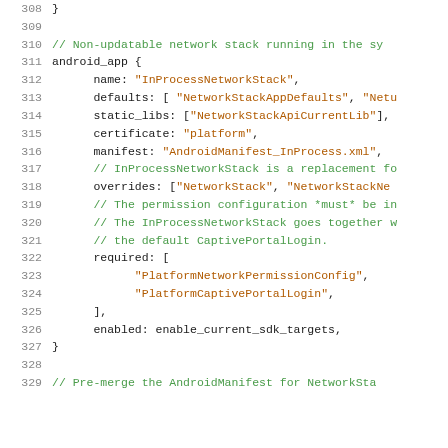[Figure (screenshot): Source code listing showing Android build configuration (Android.bp file) with line numbers 308-329. Code defines an android_app module named InProcessNetworkStack with various build configuration fields including name, defaults, static_libs, certificate, manifest, overrides, required, and enabled properties.]